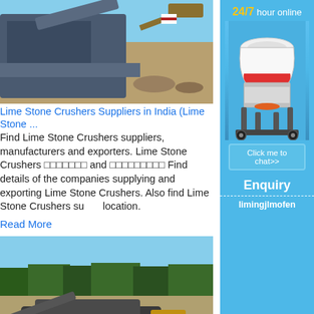[Figure (photo): Photo of limestone crusher machinery at a quarry site with excavation equipment]
Lime Stone Crushers Suppliers in India (Lime Stone ...
Find Lime Stone Crushers suppliers, manufacturers and exporters. Lime Stone Crushers         and          Find details of the companies supplying and exporting Lime Stone Crushers. Also find Lime Stone Crushers su location.
Read More
[Figure (photo): Photo of Liming brand limestone crusher/mobile crusher at a quarry with forest background and yellow loader]
Lime Stone Crusher at Best Price in India
With thorough industry knowledge, we are manufacturing and supplying a wide range
[Figure (infographic): Sidebar advertisement: 24/7 hour online, cone crusher image, Click me to chat>>, Enquiry, limingjlmofen]